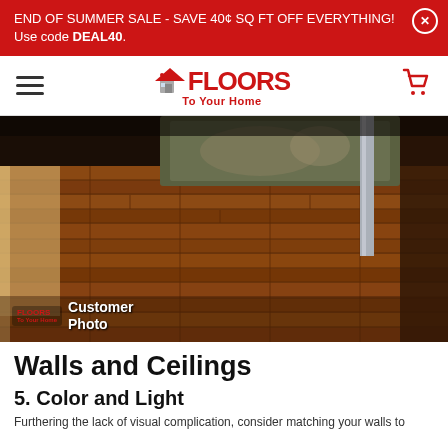END OF SUMMER SALE - SAVE 40¢ SQ FT OFF EVERYTHING! Use code DEAL40.
[Figure (logo): Floors To Your Home logo with hamburger menu and cart icon in navigation bar]
[Figure (photo): Customer photo of hardwood flooring in a home entryway with a decorative rug and a metal pole visible, warm brown tones. Floors To Your Home watermark with 'Customer Photo' text overlay in bottom left.]
Walls and Ceilings
5. Color and Light
Furthering the lack of visual complication, consider matching your walls to